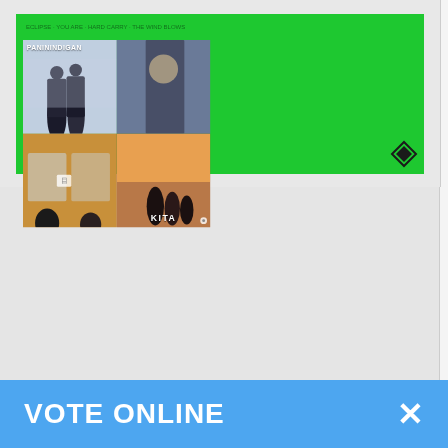[Figure (photo): Green album cover with diamond logo, GOT7 text visible]
GOT 7
[Figure (logo): Amazon shopping logo on green button]
[Figure (photo): Paninindigan Kita album cover showing people on a train, collage of 4 images]
19
Paninindigan Kita
Ben &Ben
[Figure (logo): YouTube Music logo on green button]
[Figure (logo): Spotify logo on green button]
[Figure (logo): Amazon logo on green button]
VOTE ONLINE
×